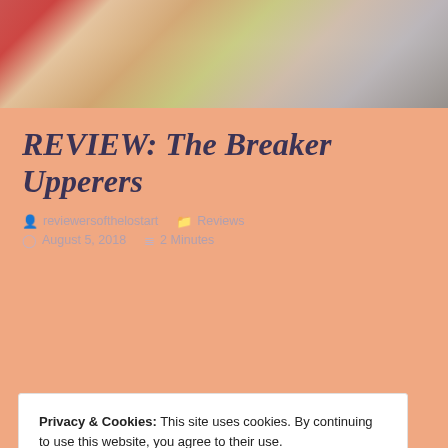[Figure (photo): Banner photo showing people relaxing, partially cropped at top of page]
REVIEW: The Breaker Upperers
reviewersofthelostart   Reviews   August 5, 2018   2 Minutes
Privacy & Cookies: This site uses cookies. By continuing to use this website, you agree to their use.
To find out more, including how to control cookies, see here: Cookie Policy
essentially run an agency where they are hired to